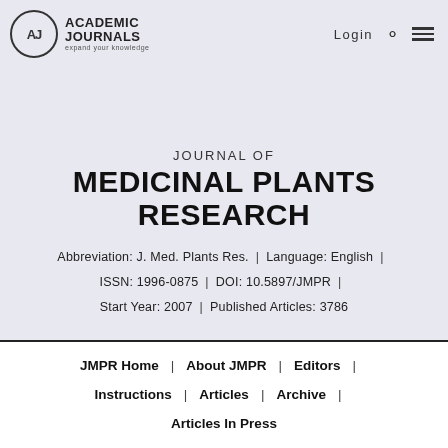[Figure (logo): Academic Journals logo with AJ circle and text 'ACADEMIC JOURNALS expand your knowledge']
JOURNAL OF MEDICINAL PLANTS RESEARCH
Abbreviation: J. Med. Plants Res. | Language: English | ISSN: 1996-0875 | DOI: 10.5897/JMPR | Start Year: 2007 | Published Articles: 3786
JMPR Home | About JMPR | Editors | Instructions | Articles | Archive | Articles In Press